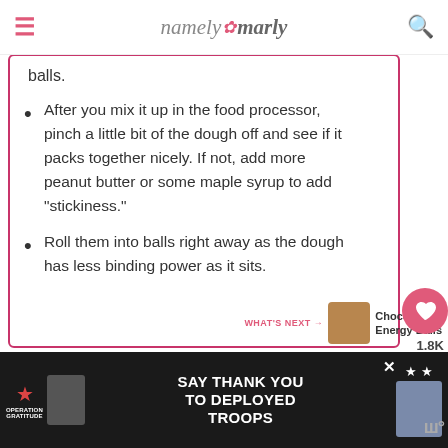namely marly
balls.
After you mix it up in the food processor, pinch a little bit of the dough off and see if it packs together nicely. If not, add more peanut butter or some maple syrup to add “stickiness.”
Roll them into balls right away as the dough has less binding power as it sits.
WHAT’S NEXT → Chocolate Energy Balls
SAY THANK YOU TO DEPLOYED TROOPS